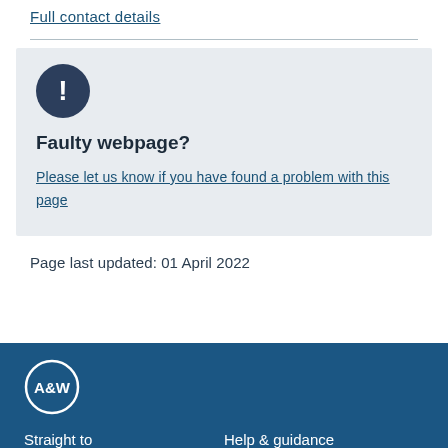Full contact details
[Figure (other): Alert notification box with dark circle exclamation mark icon, heading 'Faulty webpage?' and link text 'Please let us know if you have found a problem with this page']
Page last updated: 01 April 2022
[Figure (logo): A&W logo in white circle on dark blue background]
Straight to
Help & guidance